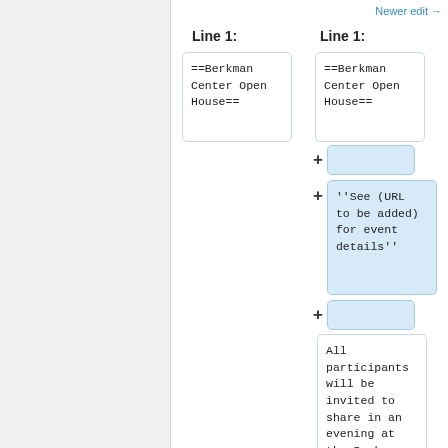Newer edit →
Line 1:
Line 1:
==Berkman Center Open House==
==Berkman Center Open House==
''See (URL to be added) for event details''
All participants will be invited to share in an evening at the Berkman